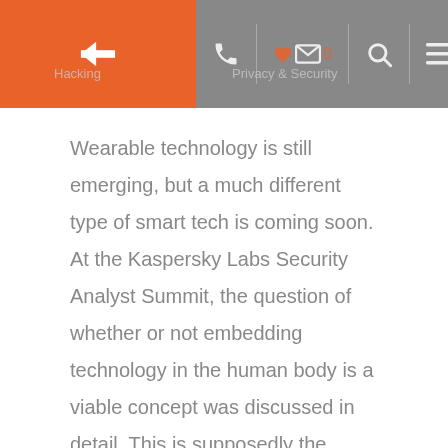← Hacking  Privacy & Security  ♥ 0  🔍  ☰
Wearable technology is still emerging, but a much different type of smart tech is coming soon. At the Kaspersky Labs Security Analyst Summit, the question of whether or not embedding technology in the human body is a viable concept was discussed in detail. This is supposedly the future of smart technology. Hannes Sjoblad, a member…
Read More...
[Figure (illustration): Cartoon illustration of a busy businessman with multiple arms holding a clipboard with checkboxes, a smartphone, a coffee cup, pointing upward near a glowing light bulb, with a clock and envelope icons around him]
TIP OF THE WEEK: ACHIEVE MAXIMUM PRODUCTIVITY FOR YOUR